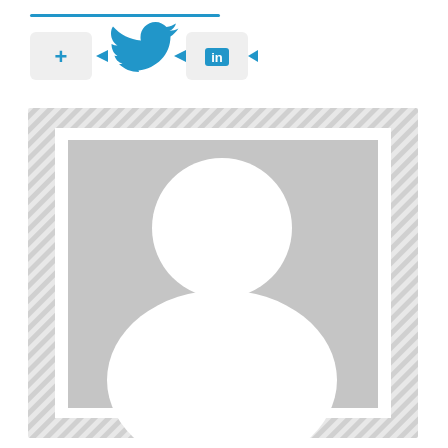[Figure (screenshot): A UI snippet showing a horizontal blue line at the top, followed by a row of social media sharing buttons: a '+' button, a Twitter bird icon button, and a LinkedIn 'in' button with connecting arrows. Below is a placeholder user profile image area with a diagonal stripe border containing a generic grey silhouette avatar (white head and shoulders on grey background).]